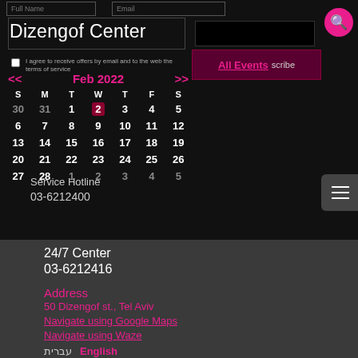Full Name | Email
Dizengof Center
I agree to receive offers by email and to the web the terms of service
All Events
[Figure (other): Calendar widget showing February 2022 with navigation arrows << and >>. Days S M T W T F S. Dates: 30 31 1 2 3 4 5 / 6 7 8 9 10 11 12 / 13 14 15 16 17 18 19 / 20 21 22 23 24 25 26 / 27 28 1 2 3 4 5]
Service Hotline
03-6212400
24/7 Center
03-6212416
Address
50 Dizengof st., Tel Aviv
Navigate using Google Maps
Navigate using Waze
עברית  English